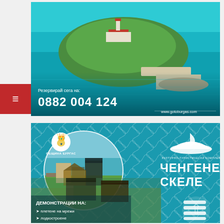[Figure (photo): Aerial view of a small island with a red-roofed building, surrounded by turquoise sea, with a pier/jetty extending to the lower right. Reservation phone number overlay: 0882 004 124, website www.gotoburgas.com]
Резервирай сега на:
0882 004 124
www.gotoburgas.com
[Figure (photo): Tourism advertising banner for Chengene Skele cultural-tourist complex in Burgas municipality. Shows waterfront buildings, fishing net background texture, Burgas municipality crest, boat logo, and text about demonstrations of net weaving and boat building.]
ОБЩИНА БУРГАС
КУЛТУРНО-ТУРИСТИЧЕСКИ КОМПЛЕКС ЧЕНГЕНЕ СКЕЛЕ
ДЕМОНСТРАЦИИ НА:
плетене на мрежи
лодкостроене